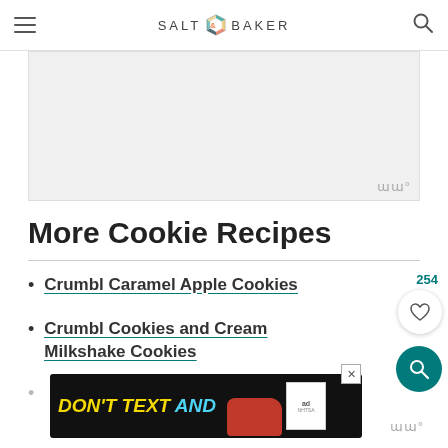SALT & BAKER
[Figure (other): Gray advertisement placeholder box with watermark]
More Cookie Recipes
Crumbl Caramel Apple Cookies
Crumbl Cookies and Cream Milkshake Cookies
[Figure (other): DON'T TEXT AND advertisement banner with car graphic, ad badge, and NHTSA logo]